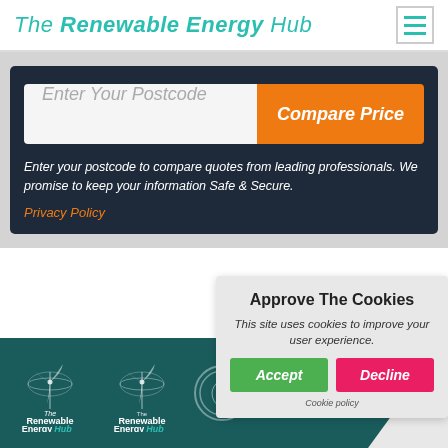The Renewable Energy Hub
Enter Your Postcode
Compare Price
Enter your postcode to compare quotes from leading professionals. We promise to keep your information Safe & Secure.
Privacy Policy
Approve The Cookies
This site uses cookies to improve your user experience.
Accept
Decline
Cookie policy